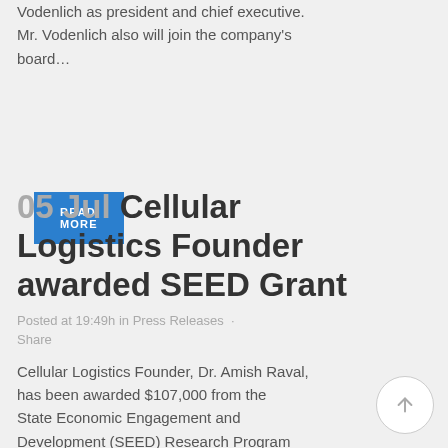Vodenlich as president and chief executive. Mr. Vodenlich also will join the company's board…
READ MORE
05 Jul Cellular Logistics Founder awarded SEED Grant
Posted at 19:49h in Press Releases · Share
Cellular Logistics Founder, Dr. Amish Raval, has been awarded $107,000 from the State Economic Engagement and Development (SEED) Research Program